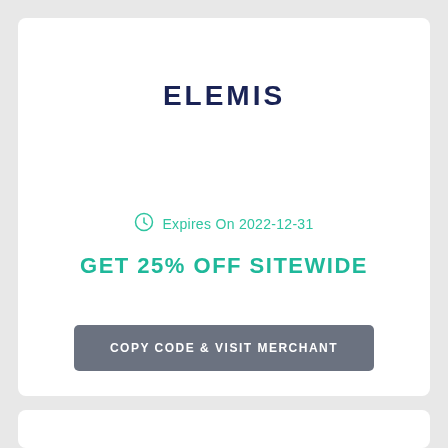ELEMIS
Expires On 2022-12-31
GET 25% OFF SITEWIDE
COPY CODE & VISIT MERCHANT